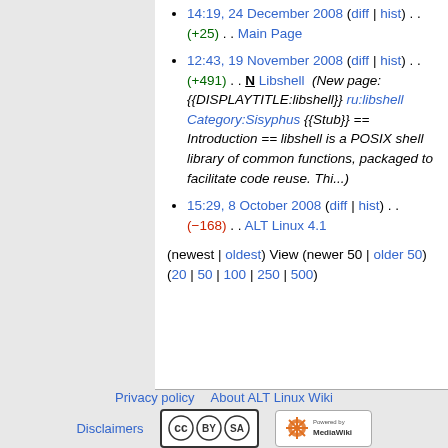14:19, 24 December 2008 (diff | hist) . . (+25) . . Main Page
12:43, 19 November 2008 (diff | hist) . . (+491) . . N Libshell (New page: {{DISPLAYTITLE:libshell}} ru:libshell Category:Sisyphus {{Stub}} == Introduction == libshell is a POSIX shell library of common functions, packaged to facilitate code reuse. Thi...)
15:29, 8 October 2008 (diff | hist) . . (-168) . . ALT Linux 4.1
(newest | oldest) View (newer 50 | older 50) (20 | 50 | 100 | 250 | 500)
Privacy policy  About ALT Linux Wiki  Disclaimers